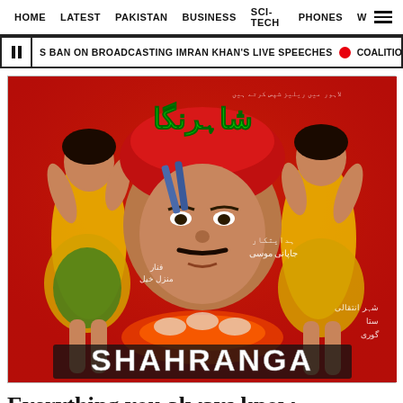HOME  LATEST  PAKISTAN  BUSINESS  SCI-TECH  PHONES  W  ☰
S BAN ON BROADCASTING IMRAN KHAN'S LIVE SPEECHES  ● COALITION PARTIES D
[Figure (photo): Colorful hand-painted Pakistani movie poster for 'Shahranga' (شاہرنگا) featuring a man in a red turban in the center, flanked by two women in yellow outfits, with Urdu text and the film title 'SHAHRANGA' at the bottom.]
Everything you always know